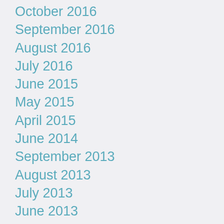October 2016
September 2016
August 2016
July 2016
June 2015
May 2015
April 2015
June 2014
September 2013
August 2013
July 2013
June 2013
May 2013
April 2013
March 2013
February 2013